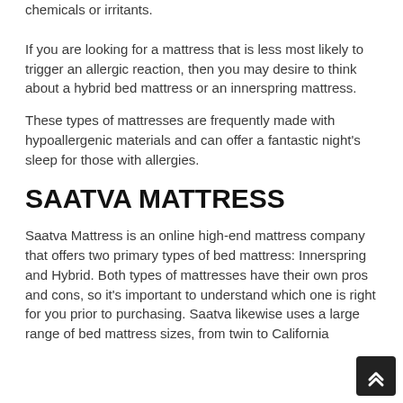chemicals or irritants.
If you are looking for a mattress that is less most likely to trigger an allergic reaction, then you may desire to think about a hybrid bed mattress or an innerspring mattress.
These types of mattresses are frequently made with hypoallergenic materials and can offer a fantastic night's sleep for those with allergies.
SAATVA MATTRESS
Saatva Mattress is an online high-end mattress company that offers two primary types of bed mattress: Innerspring and Hybrid. Both types of mattresses have their own pros and cons, so it's important to understand which one is right for you prior to purchasing. Saatva likewise uses a large range of bed mattress sizes, from twin to California